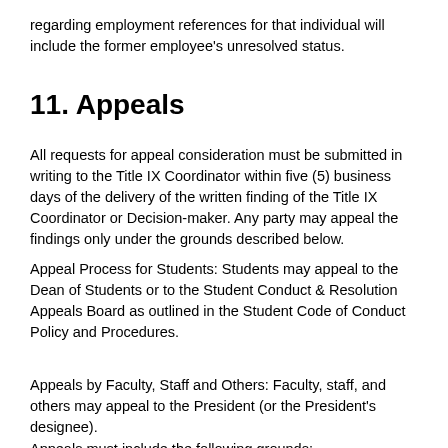regarding employment references for that individual will include the former employee's unresolved status.
11. Appeals
All requests for appeal consideration must be submitted in writing to the Title IX Coordinator within five (5) business days of the delivery of the written finding of the Title IX Coordinator or Decision-maker. Any party may appeal the findings only under the grounds described below.
Appeal Process for Students: Students may appeal to the Dean of Students or to the Student Conduct & Resolution Appeals Board as outlined in the Student Code of Conduct Policy and Procedures.
Appeals by Faculty, Staff and Others: Faculty, staff, and others may appeal to the President (or the President's designee).
Appeals must include the following grounds: